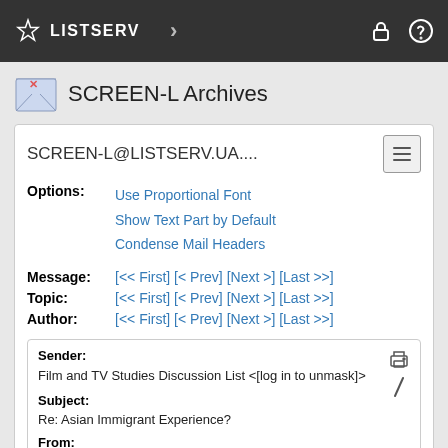LISTSERV
SCREEN-L Archives
SCREEN-L@LISTSERV.UA....
Options: Use Proportional Font
Show Text Part by Default
Condense Mail Headers
Message: [<< First] [< Prev] [Next >] [Last >>]
Topic: [<< First] [< Prev] [Next >] [Last >>]
Author: [<< First] [< Prev] [Next >] [Last >>]
Sender: Film and TV Studies Discussion List <[log in to unmask]>
Subject: Re: Asian Immigrant Experience?
From: Hamid Naficy <[log in to unmask]>